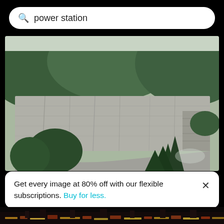power station
[Figure (photo): High angle view of a large concrete dam with green forested hills in the background and evergreen trees at the base]
High angle view of dam against sky
[Figure (photo): Night scene with a tall illuminated structure against a dark sky]
Get every image at 80% off with our flexible subscriptions. Buy for less.
[Figure (photo): Partial view of a colorful cityscape at night along the bottom edge]